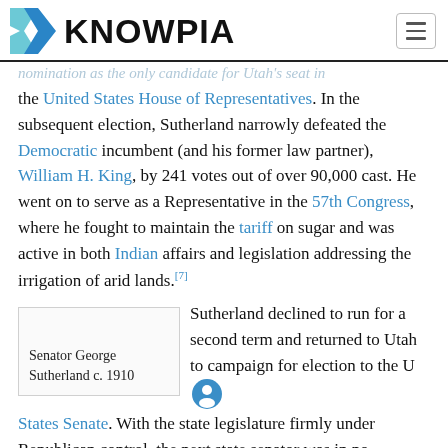KNOWPIA
nomination as the only candidate for Utah's seat in the United States House of Representatives. In the subsequent election, Sutherland narrowly defeated the Democratic incumbent (and his former law partner), William H. King, by 241 votes out of over 90,000 cast. He went on to serve as a Representative in the 57th Congress, where he fought to maintain the tariff on sugar and was active in both Indian affairs and legislation addressing the irrigation of arid lands.[7]
Senator George Sutherland c. 1910
Sutherland declined to run for a second term and returned to Utah to campaign for election to the United States Senate. With the state legislature firmly under Republican control, the next state senator was in no
States Senate. With the state legislature firmly under Republican control, the next state senator was in no